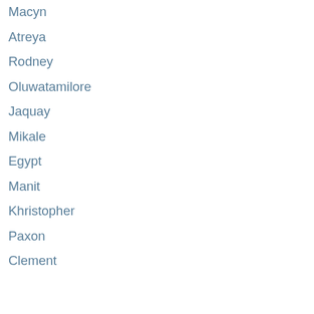Macyn
Atreya
Rodney
Oluwatamilore
Jaquay
Mikale
Egypt
Manit
Khristopher
Paxon
Clement